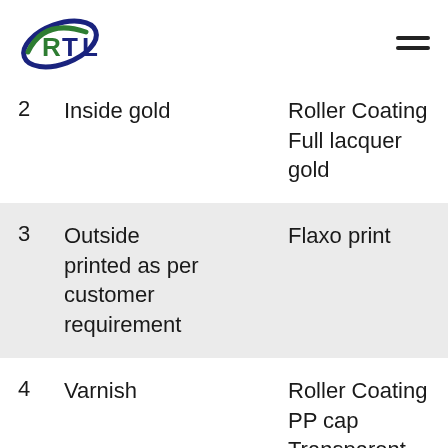RTL logo and navigation
| # | Description | Process |
| --- | --- | --- |
| 2 | Inside gold | Roller Coating Full lacquer gold |
| 3 | Outside printed as per customer requirement | Flaxo print |
| 4 | Varnish | Roller Coating PP cap Transparent Varnish |